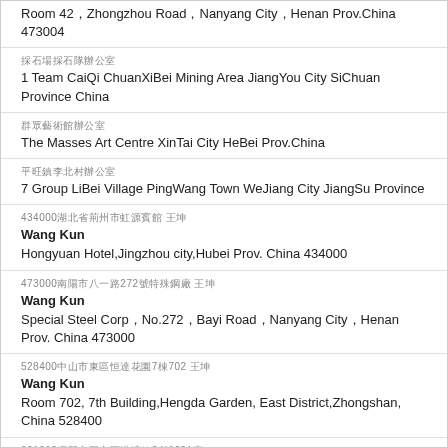Room 42，Zhongzhou Road，Nanyang City，Henan Prov.China 473004
採石場採石隊辦公室
1 Team CaiQi ChuanXiBei Mining Area JiangYou City SiChuan Province China
群眾藝術館辦公室
The Masses Art Centre XinTai City HeBei Prov.China
平旺鎮李北村辦公室
7 Group LiBei Village PingWang Town WeJiang City JiangSu Province
434000湖北省荊州市虹源賓館 王坤
Wang Kun
Hongyuan Hotel,Jingzhou city,Hubei Prov. China 434000
473000南陽市八一路272號特殊鋼廠 王坤
Wang Kun
Special Steel Corp，No.272，Bayi Road，Nanyang City，Henan Prov. China 473000
528400中山市東區恒達花園7棟702 王坤
Wang Kun
Room 702, 7th Building,Hengda Garden, East District,Zhongshan, China 528400
361012廈門市同安區洪塘鎮34號601室
Wang Kun